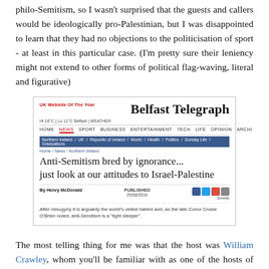philo-Semitism, so I wasn't surprised that the guests and callers would be ideologically pro-Palestinian, but I was disappointed to learn that they had no objections to the politicisation of sport - at least in this particular case. (I'm pretty sure their leniency might not extend to other forms of political flag-waving, literal and figurative)
[Figure (screenshot): Screenshot of a Belfast Telegraph article titled 'Anti-Semitism bred by ignorance... just look at our attitudes to Israel-Palestine' by Henry McDonald, published 25/08/2016. Excerpt: 'After misogyny it is arguably the world's oldest hatred and, as the late Conor Cruise O'Brien noted, anti-Semitism is a "light sleeper".']
The most telling thing for me was that the host was William Crawley, whom you'll be familiar with as one of the hosts of the Sunday programme on Radio 4, which tackles religious matters, here is its, and to be serious. (Quite at the